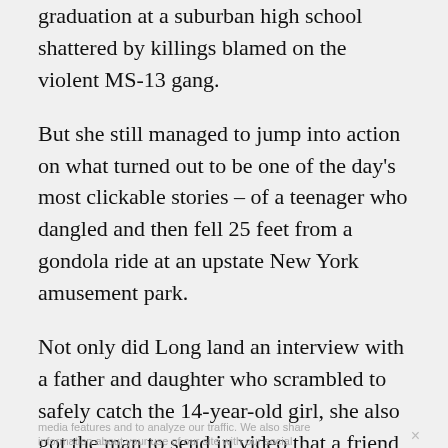graduation at a suburban high school shattered by killings blamed on the violent MS-13 gang.
But she still managed to jump into action on what turned out to be one of the day's most clickable stories – of a teenager who dangled and then fell 25 feet from a gondola ride at an upstate New York amusement park.
Not only did Long land an interview with a father and daughter who scrambled to safely catch the 14-year-old girl, she also got the man to send in video that a friend took of the entire event, a reporting tour de force that landed her all over the D...